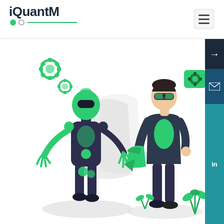[Figure (logo): iQuantM logo with green dots and line underline, dark text]
[Figure (other): Hamburger menu icon button in top right corner]
[Figure (illustration): Illustration of a green robot/AI figure interacting with a holographic screen on the left, and a human figure wearing AR glasses holding a green folder on the right. Green gear icons float near both figures. Right edge shows a dark sidebar with arrow, email, and LinkedIn icons. Green plants at bottom right.]